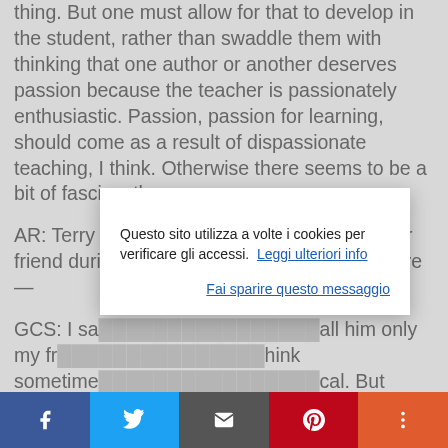thing. But one must allow for that to develop in the student, rather than swaddle them with thinking that one author or another deserves passion because the teacher is passionately enthusiastic. Passion, passion for learning, should come as a result of dispassionate teaching, I think. Otherwise there seems to be a bit of fascism there.
AR: Terry [partially obscured] ed as your friend duri[ng] [partially obscured]re—
GCS: I sa[id] [partially obscured] all him only my fr[iend] [partially obscured] hink sometime[s] [partially obscured] cal. But anyway ask your question.
AR: He has described your prose as
Questo sito utilizza a volte i cookies per verificare gli accessi. Leggi ulteriori info
Fai sparire questo messaggio
[Figure (other): Social sharing bar with Facebook, Twitter, Email, Pinterest, and More buttons]